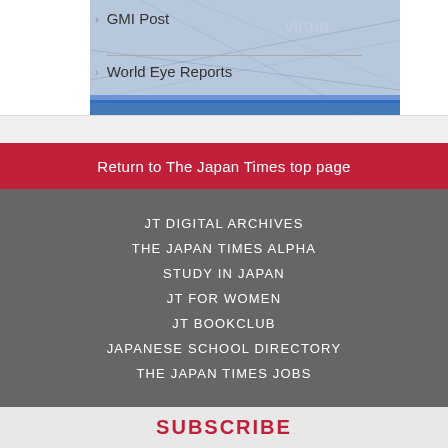GMI Post
World Eye Reports
Return to The Japan Times top page
JT DIGITAL ARCHIVES
THE JAPAN TIMES ALPHA
STUDY IN JAPAN
JT FOR WOMEN
JT BOOKCLUB
JAPANESE SCHOOL DIRECTORY
THE JAPAN TIMES JOBS
SUBSCRIBE